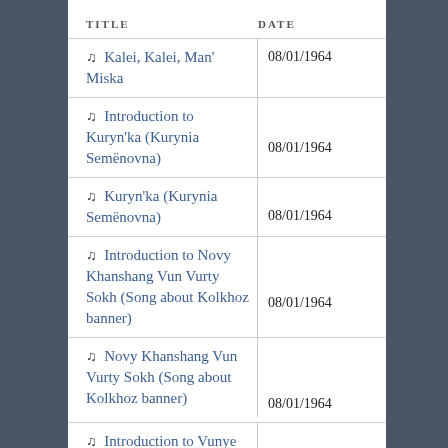| TITLE | DATE |
| --- | --- |
| ♫  Kalei, Kalei, Man' Miska | 08/01/1964 |
| ♫  Introduction to Kuryn'ka (Kurynia Semënovna) | 08/01/1964 |
| ♫  Kuryn'ka (Kurynia Semënovna) | 08/01/1964 |
| ♫  Introduction to Novy Khanshang Vun Vurty Sokh (Song about Kolkhoz banner) | 08/01/1964 |
| ♫  Novy Khanshang Vun Vurty Sokh (Song about Kolkhoz banner) | 08/01/1964 |
| ♫  Introduction to Vunye... |  |